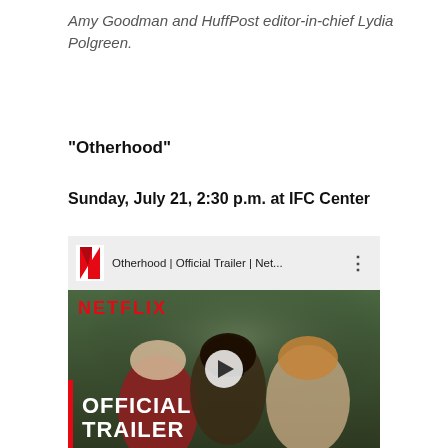Amy Goodman and HuffPost editor-in-chief Lydia Polgreen.
“Otherhood”
Sunday, July 21, 2:30 p.m. at IFC Center
[Figure (screenshot): YouTube embed thumbnail for Otherhood Official Trailer on Netflix. Shows Netflix logo bar at top with title 'Otherhood | Official Trailer | Net...' and three-dot menu. Below is a dark scene with three women outdoors, a play button in the center, NETFLIX text in red, and 'OFFICIAL TRAILER' text at bottom left with a red vertical bar.]